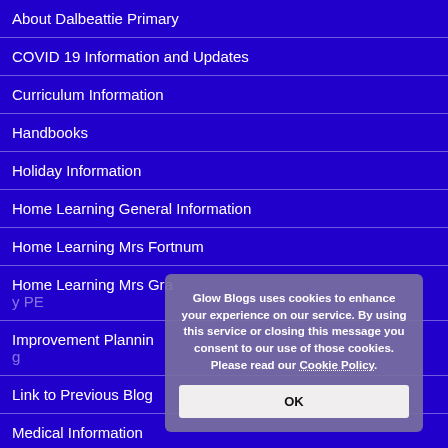About Dalbeattie Primary
COVID 19 Information and Updates
Curriculum Information
Handbooks
Holiday Information
Home Learning General Information
Home Learning Mrs Fortnum
Home Learning Mrs Gray PE
Improvement Planning
Link to Previous Blog
Medical Information
Newsletters
P1 Class Page Mrs Fitzsimmons
Glow Blogs uses cookies to enhance your experience on our service. By using this service or closing this message you consent to our use of those cookies. Please read our Cookie Policy.